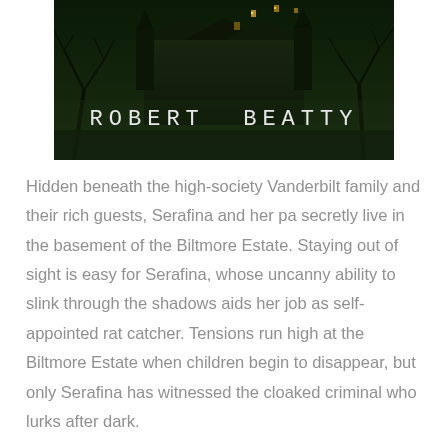[Figure (illustration): Book cover image showing a dark haunted mansion at night with bare twisted trees, lit windows, and the author name 'ROBERT BEATTY' in white handwritten-style text across the bottom portion of the image.]
Hidden beneath the high-society Vanderbilt family and their rich guests, Serafina and her pa secretly live in the basement of the Biltmore Estate. Staying out of sight is easy for Serafina, whose uncanny ability to slink through the shadows aids her job as self-appointed rat catcher. Tensions run high at the Biltmore Estate when children begin to disappear, but only Serafina has witnessed the cloaked criminal who lurks after dark.